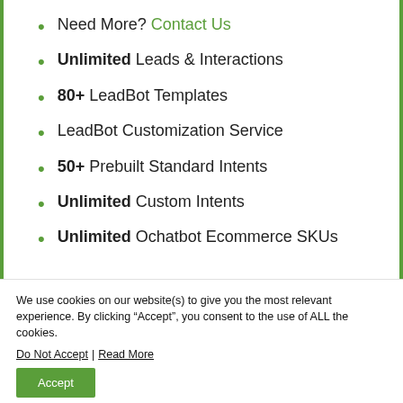Need More? Contact Us
Unlimited Leads & Interactions
80+ LeadBot Templates
LeadBot Customization Service
50+ Prebuilt Standard Intents
Unlimited Custom Intents
Unlimited Ochatbot Ecommerce SKUs
We use cookies on our website(s) to give you the most relevant experience. By clicking “Accept”, you consent to the use of ALL the cookies.
Do Not Accept | Read More
Accept